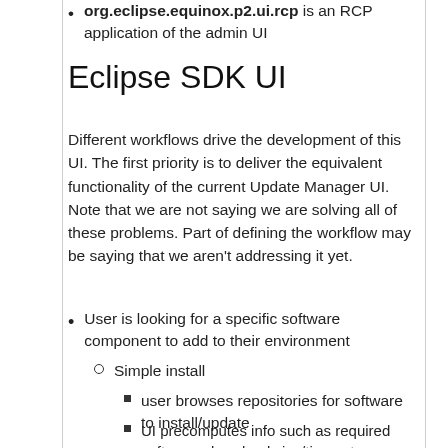org.eclipse.equinox.p2.ui.rcp is an RCP application of the admin UI
Eclipse SDK UI
Different workflows drive the development of this UI. The first priority is to deliver the equivalent functionality of the current Update Manager UI. Note that we are not saying we are solving all of these problems. Part of defining the workflow may be saying that we aren't addressing it yet.
User is looking for a specific software component to add to their environment
Simple install
user browses repositories for software to install/update
UI precomputes info such as required software, download size/time, etc
user accepts licenses, etc.
Install requires updating (or downgrading) of existing components